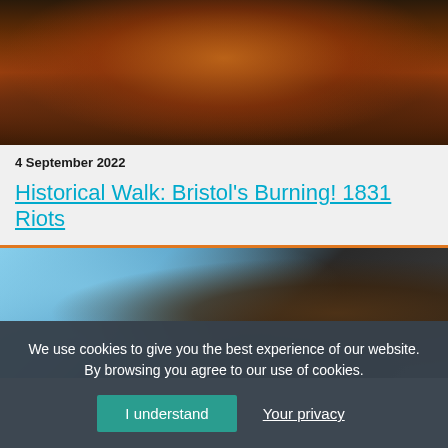[Figure (photo): Historical painting showing a large burning building at night with crowds of people gathered in front, depicting the 1831 Bristol riots.]
4 September 2022
Historical Walk: Bristol's Burning! 1831 Riots
[Figure (photo): Close-up photograph of a bronze statue of a man's face, with bare trees and urban street scene visible in the background.]
We use cookies to give you the best experience of our website. By browsing you agree to our use of cookies.
I understand
Your privacy